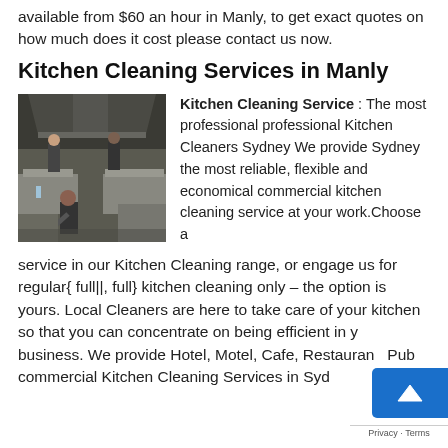available from $60 an hour in Manly, to get exact quotes on how much does it cost please contact us now.
Kitchen Cleaning Services in Manly
[Figure (photo): Photo of workers cleaning a commercial kitchen with stainless steel equipment and ventilation hoods]
Kitchen Cleaning Service : The most professional professional Kitchen Cleaners Sydney We provide Sydney the most reliable, flexible and economical commercial kitchen cleaning service at your work.Choose a service in our Kitchen Cleaning range, or engage us for regular{ full||, full} kitchen cleaning only – the option is yours. Local Cleaners are here to take care of your kitchen so that you can concentrate on being efficient in your business. We provide Hotel, Motel, Cafe, Restaurant, Pub commercial Kitchen Cleaning Services in Sydney